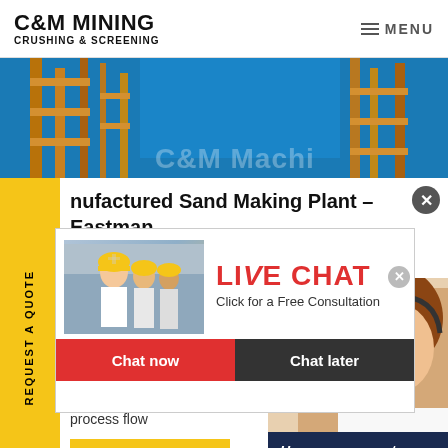C&M MINING CRUSHING & SCREENING | MENU
[Figure (photo): Industrial mining/crushing equipment structure photo with yellow scaffolding and blue background, partially showing C&M Machine text]
Manufactured Sand Making Plant – Eastman Rock Crusher
e vertical making mo h crushing efficiency (with fine arse grinding functions), conve d maintenance, and excellent p size (cubic, less needle-like conte process flow
[Figure (photo): Live chat popup with workers in yellow hard hats on left, LIVE CHAT text in red, Click for a Free Consultation subtitle, Chat now (red button) and Chat later (dark button), with close X button]
[Figure (photo): Customer service representative woman wearing headset, with dark blue panel at bottom saying Have any requests, click here. and a Quotation button]